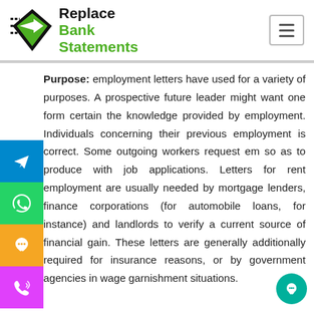[Figure (logo): Replace Bank Statements logo with green diamond arrow icon and black/green text]
Purpose: employment letters have used for a variety of purposes. A prospective future leader might want one form certain the knowledge provided by employment. Individuals concerning their previous employment is correct. Some outgoing workers request em so as to produce with job applications. Letters for rent employment are usually needed by mortgage lenders, finance corporations (for automobile loans, for instance) and landlords to verify a current source of financial gain. These letters are generally additionally required for insurance reasons, or by government agencies in wage garnishment situations.